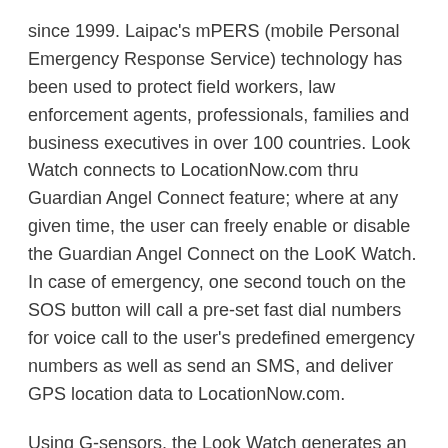since 1999. Laipac's mPERS (mobile Personal Emergency Response Service) technology has been used to protect field workers, law enforcement agents, professionals, families and business executives in over 100 countries. Look Watch connects to LocationNow.com thru Guardian Angel Connect feature; where at any given time, the user can freely enable or disable the Guardian Angel Connect on the LooK Watch. In case of emergency, one second touch on the SOS button will call a pre-set fast dial numbers for voice call to the user's predefined emergency numbers as well as send an SMS, and deliver GPS location data to LocationNow.com.
Using G-sensors, the Look Watch generates an alert if a fall is detected. If it's a false alarm, the user will only need to press the SOS button when prompted to do so, and the alert will not be sent. If the user is unable to cancel the alert, it will be sent to the device of your choosing, along with GPS coordinates and address of where the